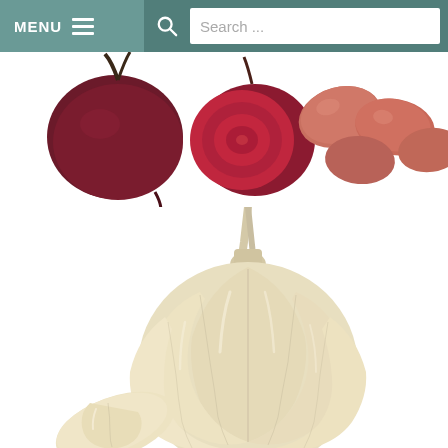MENU  Search ...
[Figure (photo): Website navigation bar with MENU button and hamburger icon on teal/sage green background, and a search bar with magnifying glass icon and placeholder text 'Search ...']
[Figure (photo): Top portion showing fresh vegetables on white background: a whole beet with root and a halved red beet showing interior on the left, and a cluster of red/pink potatoes on the right]
[Figure (photo): A whole garlic bulb with cloves, white/cream colored, on white background, partially cut off at bottom of page]